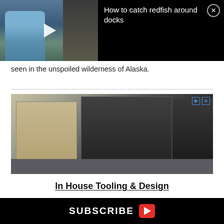[Figure (screenshot): Video overlay showing a person holding a fish at a dock, with a play button. Title reads: How to catch redfish around docks. Black background with close (X) button.]
seen in the unspoiled wilderness of Alaska.
[Figure (photo): Advertisement showing industrial injection molding machine in a factory setting. Has play/close icons in top right corner.]
In House Tooling & Design
SUBSCRIBE